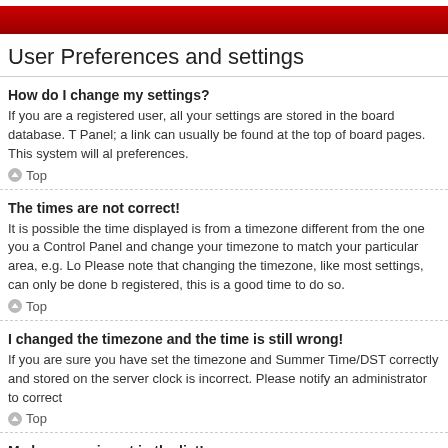User Preferences and settings
How do I change my settings?
If you are a registered user, all your settings are stored in the board database. To alter them, visit your User Control Panel; a link can usually be found at the top of board pages. This system will allow you to change all your preferences.
Top
The times are not correct!
It is possible the time displayed is from a timezone different from the one you are in. If this is the case, visit your User Control Panel and change your timezone to match your particular area, e.g. London, Paris, New York, Sydney, etc. Please note that changing the timezone, like most settings, can only be done by registered users. If you are not registered, this is a good time to do so.
Top
I changed the timezone and the time is still wrong!
If you are sure you have set the timezone and Summer Time/DST correctly and the time is still incorrect, then the time stored on the server clock is incorrect. Please notify an administrator to correct the problem.
Top
My language is not in the list!
Either the administrator has not installed your language or nobody has translate